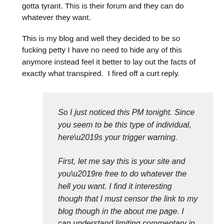gotta tyrant. This is their forum and they can do whatever they want.
This is my blog and well they decided to be so fucking petty I have no need to hide any of this anymore instead feel it better to lay out the facts of exactly what transpired.  I fired off a curt reply.
So I just noticed this PM tonight. Since you seem to be this type of individual, here’s your trigger warning.

First, let me say this is your site and you’re free to do whatever the hell you want. I find it interesting though that I must censor the link to my blog though in the about me page. I can understand limiting commentary in sig lines, but if someone looks me up so what? They’re free to leave my website, just as I’m free to skip over threads I don’t care about.

If they want to get their panties in a ruffle well I’m